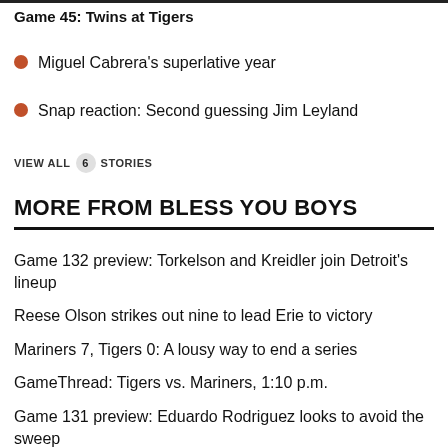Game 45: Twins at Tigers
Miguel Cabrera's superlative year
Snap reaction: Second guessing Jim Leyland
VIEW ALL 6 STORIES
MORE FROM BLESS YOU BOYS
Game 132 preview: Torkelson and Kreidler join Detroit's lineup
Reese Olson strikes out nine to lead Erie to victory
Mariners 7, Tigers 0: A lousy way to end a series
GameThread: Tigers vs. Mariners, 1:10 p.m.
Game 131 preview: Eduardo Rodriguez looks to avoid the sweep
Parker Meadows and Gage Workman homer in a SeaWolves' loss